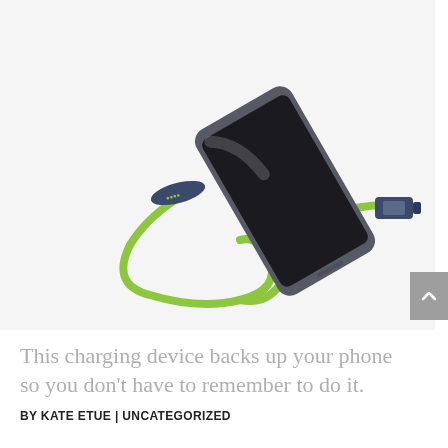[Figure (photo): A smartphone lying flat connected to a green USB charging cable with a dark blue/grey connector body. The cable loops around below the phone. White background product photo.]
This charging device backs up your phone so you don't have to remember to do it.
BY KATE ETUE | UNCATEGORIZED